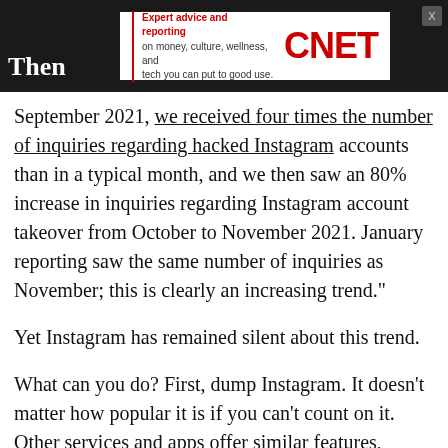[Figure (logo): CNET advertisement banner with logo and tagline 'Expert advice and reporting on money, culture, wellness, and tech you can put to good use.']
Then
September 2021, we received four times the number of inquiries regarding hacked Instagram accounts than in a typical month, and we then saw an 80% increase in inquiries regarding Instagram account takeover from October to November 2021. January reporting saw the same number of inquiries as November; this is clearly an increasing trend."
Yet Instagram has remained silent about this trend.
What can you do? First, dump Instagram. It doesn't matter how popular it is if you can't count on it. Other services and apps offer similar features,